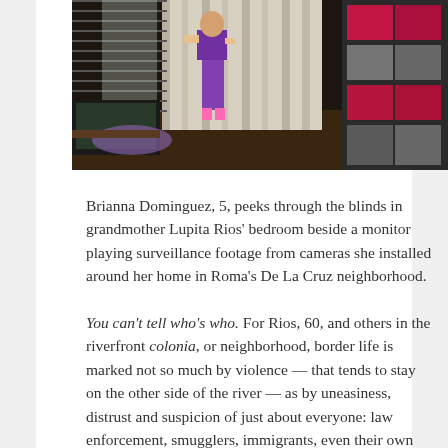[Figure (photo): A young child in a purple top peeks through window blinds in a bedroom. To the right is a dark shelving unit with pink and grey storage bins. The room is dimly lit with a wooden floor.]
Brianna Dominguez, 5, peeks through the blinds in grandmother Lupita Rios' bedroom beside a monitor playing surveillance footage from cameras she installed around her home in Roma's De La Cruz neighborhood.
You can't tell who's who. For Rios, 60, and others in the riverfront colonia, or neighborhood, border life is marked not so much by violence — that tends to stay on the other side of the river — as by uneasiness, distrust and suspicion of just about everyone: law enforcement, smugglers, immigrants, even their own neighbors.